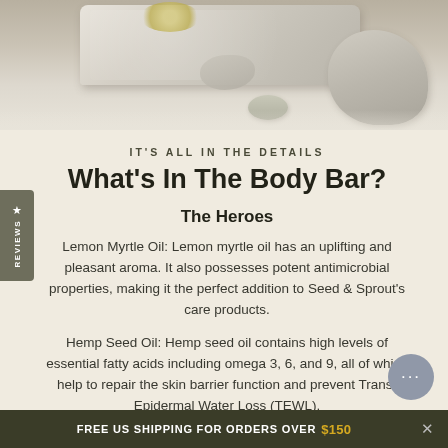[Figure (photo): Product photo showing stone/concrete soap bars on a light textured surface with floral elements and a small bowl]
IT'S ALL IN THE DETAILS
What's In The Body Bar?
The Heroes
Lemon Myrtle Oil: Lemon myrtle oil has an uplifting and pleasant aroma. It also possesses potent antimicrobial properties, making it the perfect addition to Seed & Sprout's care products.
Hemp Seed Oil: Hemp seed oil contains high levels of essential fatty acids including omega 3, 6, and 9, all of which help to repair the skin barrier function and prevent Trans-Epidermal Water Loss (TEWL).
FREE US SHIPPING FOR ORDERS OVER $150